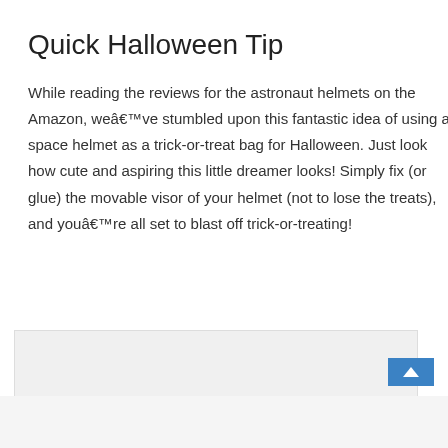Quick Halloween Tip
While reading the reviews for the astronaut helmets on the Amazon, weâ€™ve stumbled upon this fantastic idea of using a space helmet as a trick-or-treat bag for Halloween. Just look how cute and aspiring this little dreamer looks! Simply fix (or glue) the movable visor of your helmet (not to lose the treats), and youâ€™re all set to blast off trick-or-treating!
[Figure (other): Gray placeholder box with a blue scroll-to-top button in the bottom right corner]